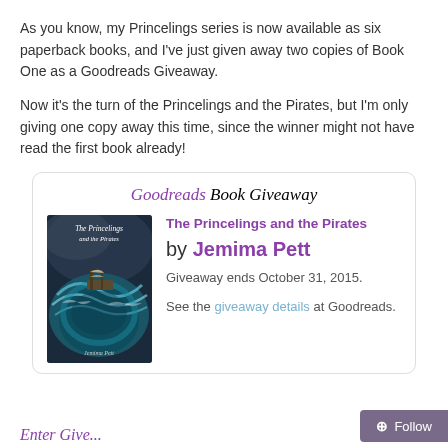As you know, my Princelings series is now available as six paperback books, and I've just given away two copies of Book One as a Goodreads Giveaway.
Now it's the turn of the Princelings and the Pirates, but I'm only giving one copy away this time, since the winner might not have read the first book already!
[Figure (infographic): Goodreads Book Giveaway widget showing 'The Princelings and the Pirates' by Jemima Pett, with book cover image, giveaway end date October 31, 2015, and a link to giveaway details at Goodreads.]
Enter Give...